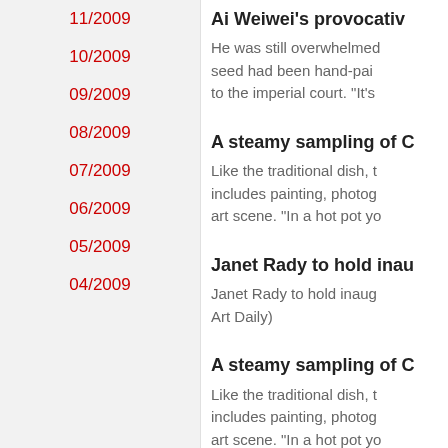11/2009
10/2009
09/2009
08/2009
07/2009
06/2009
05/2009
04/2009
Ai Weiwei's provocativ
He was still overwhelmed seed had been hand-pai to the imperial court. "It's
A steamy sampling of C
Like the traditional dish, t includes painting, photog art scene. "In a hot pot yo
Janet Rady to hold inau
Janet Rady to hold inaug Art Daily)
A steamy sampling of C
Like the traditional dish, t includes painting, photog art scene. "In a hot pot yo